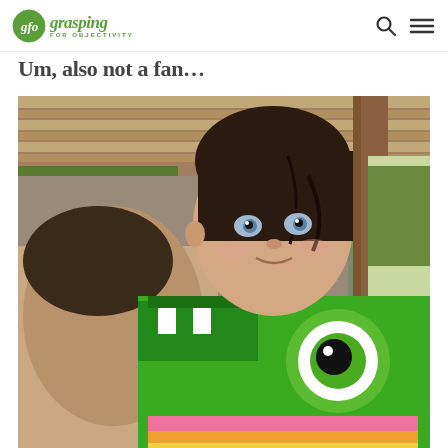gfo grasping FOR OBJECTIVITY
Um, also not a fan…
[Figure (photo): A young toddler with wet dark hair and blue eyes, being held by an adult male. The child is wearing a bright green frog-themed life jacket/floatie over a colorful swimsuit. They appear to be at a water park or pool area with a wooden roof structure visible in the background.]